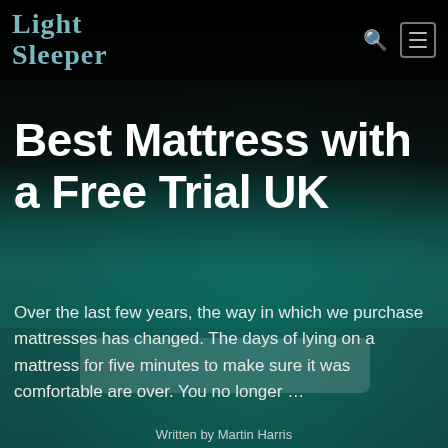Light Sleeper
Best Mattress with a Free Trial UK
Over the last few years, the way in which we purchase mattresses has changed. The days of lying on a mattress for five minutes to make sure it was comfortable are over. You no longer …
Written by Martin Harris